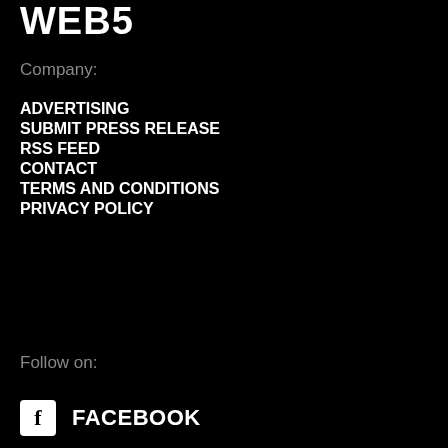WEB5
Company:
ADVERTISING
SUBMIT PRESS RELEASE
RSS FEED
CONTACT
TERMS AND CONDITIONS
PRIVACY POLICY
Follow on:
f  FACEBOOK